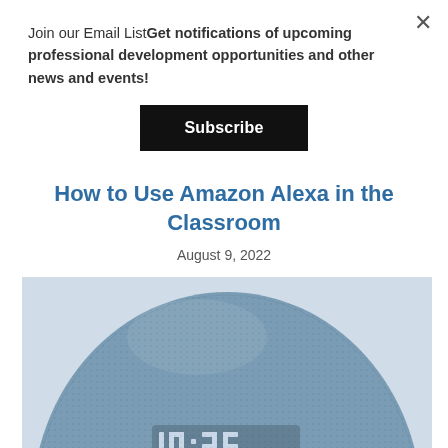Join our Email ListGet notifications of upcoming professional development opportunities and other news and events!
Subscribe
How to Use Amazon Alexa in the Classroom
August 9, 2022
[Figure (photo): Close-up of a blue Amazon Echo Dot smart speaker with a digital clock display showing 10:35]